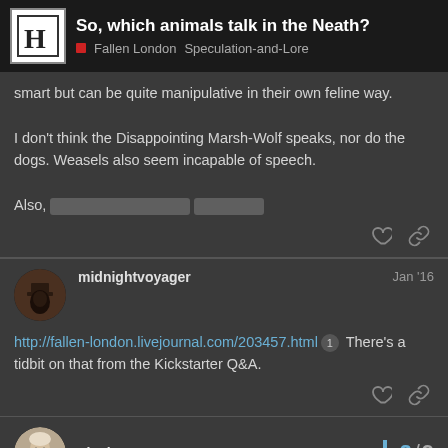So, which animals talk in the Neath? — Fallen London · Speculation-and-Lore
smart but can be quite manipulative in their own feline way.

I don't think the Disappointing Marsh-Wolf speaks, nor do the dogs. Weasels also seem incapable of speech.

Also, [redacted]
midnightvoyager  Jan '16
http://fallen-london.livejournal.com/203457.html  1  There's a tidbit on that from the Kickstarter Q&A.
nigeloverstreet  2 / 9